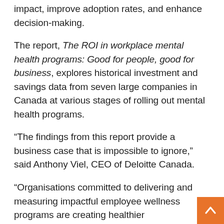impact, improve adoption rates, and enhance decision-making.
The report, The ROI in workplace mental health programs: Good for people, good for business, explores historical investment and savings data from seven large companies in Canada at various stages of rolling out mental health programs.
“The findings from this report provide a business case that is impossible to ignore,” said Anthony Viel, CEO of Deloitte Canada.
“Organisations committed to delivering and measuring impactful employee wellness programs are creating healthier